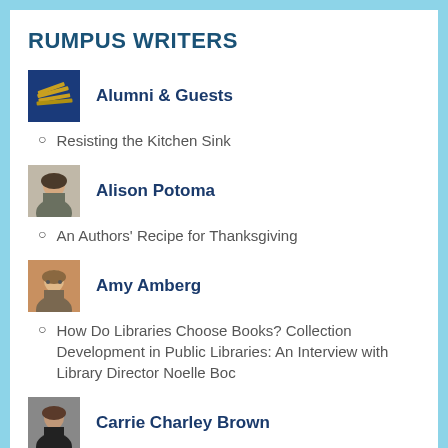RUMPUS WRITERS
Alumni & Guests
Resisting the Kitchen Sink
Alison Potoma
An Authors' Recipe for Thanksgiving
Amy Amberg
How Do Libraries Choose Books? Collection Development in Public Libraries: An Interview with Library Director Noelle Boc
Carrie Charley Brown
Critiquing: A Superpower?